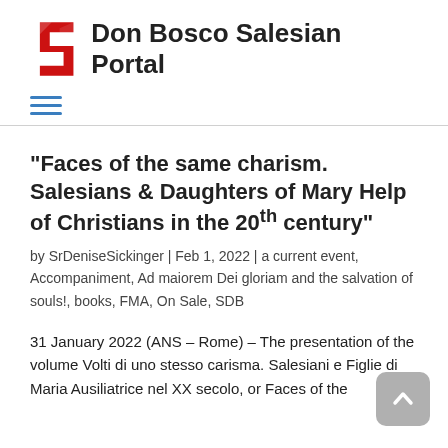[Figure (logo): Don Bosco Salesian Portal logo with red stylized S and bold text]
[Figure (other): Hamburger menu icon with three horizontal teal/blue lines]
“Faces of the same charism. Salesians & Daughters of Mary Help of Christians in the 20th century”
by SrDeniseSickinger | Feb 1, 2022 | a current event, Accompaniment, Ad maiorem Dei gloriam and the salvation of souls!, books, FMA, On Sale, SDB
31 January 2022 (ANS – Rome) – The presentation of the volume Volti di uno stesso carisma. Salesiani e Figlie di Maria Ausiliatrice nel XX secolo, or Faces of the